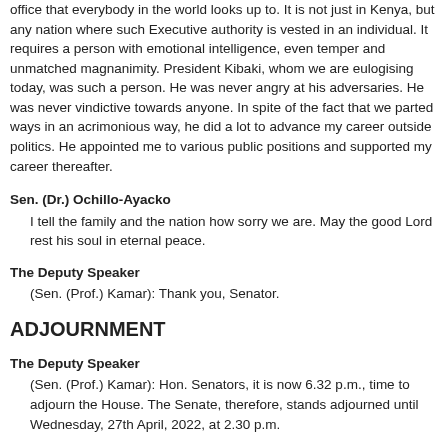office that everybody in the world looks up to. It is not just in Kenya, but any nation where such Executive authority is vested in an individual. It requires a person with emotional intelligence, even temper and unmatched magnanimity. President Kibaki, whom we are eulogising today, was such a person. He was never angry at his adversaries. He was never vindictive towards anyone. In spite of the fact that we parted ways in an acrimonious way, he did a lot to advance my career outside politics. He appointed me to various public positions and supported my career thereafter.
Sen. (Dr.) Ochillo-Ayacko
I tell the family and the nation how sorry we are. May the good Lord rest his soul in eternal peace.
The Deputy Speaker
(Sen. (Prof.) Kamar): Thank you, Senator.
ADJOURNMENT
The Deputy Speaker
(Sen. (Prof.) Kamar): Hon. Senators, it is now 6.32 p.m., time to adjourn the House. The Senate, therefore, stands adjourned until Wednesday, 27th April, 2022, at 2.30 p.m.